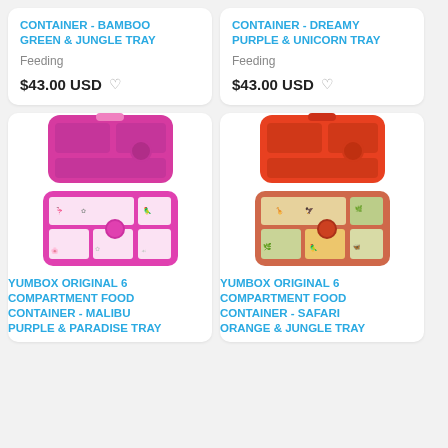CONTAINER - BAMBOO GREEN & JUNGLE TRAY
Feeding
$43.00 USD
CONTAINER - DREAMY PURPLE & UNICORN TRAY
Feeding
$43.00 USD
[Figure (photo): Pink Yumbox Original 6 compartment lunchbox open showing decorated tray with flamingo/tropical designs]
YUMBOX ORIGINAL 6 COMPARTMENT FOOD CONTAINER - MALIBU PURPLE & PARADISE TRAY
[Figure (photo): Orange Yumbox Original 6 compartment lunchbox open showing decorated tray with safari/jungle animal designs]
YUMBOX ORIGINAL 6 COMPARTMENT FOOD CONTAINER - SAFARI ORANGE & JUNGLE TRAY